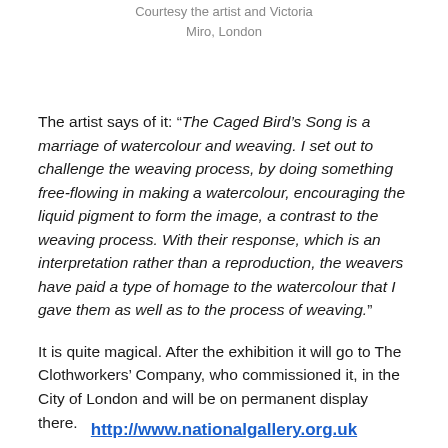Courtesy the artist and Victoria Miro, London
The artist says of it: “The Caged Bird’s Song is a marriage of watercolour and weaving. I set out to challenge the weaving process, by doing something free-flowing in making a watercolour, encouraging the liquid pigment to form the image, a contrast to the weaving process. With their response, which is an interpretation rather than a reproduction, the weavers have paid a type of homage to the watercolour that I gave them as well as to the process of weaving.”
It is quite magical. After the exhibition it will go to The Clothworkers’ Company, who commissioned it, in the City of London and will be on permanent display there.
http://www.nationalgallery.org.uk